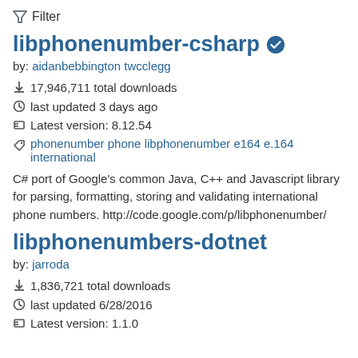Filter
libphonenumber-csharp
by: aidanbebbington twcclegg
17,946,711 total downloads
last updated 3 days ago
Latest version: 8.12.54
phonenumber phone libphonenumber e164 e.164 international
C# port of Google's common Java, C++ and Javascript library for parsing, formatting, storing and validating international phone numbers. http://code.google.com/p/libphonenumber/
libphonenumbers-dotnet
by: jarroda
1,836,721 total downloads
last updated 6/28/2016
Latest version: 1.1.0